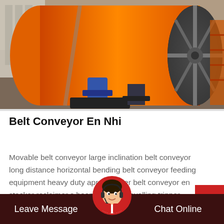[Figure (photo): Large orange industrial drum/cylinder of a belt conveyor system lying on a factory floor, showing the circular end with spokes pattern, supported by blue metal stands. Industrial facility background.]
Belt Conveyor En Nhi
Movable belt conveyor large inclination belt conveyor long distance horizontal bending belt conveyor feeding equipment heavy duty apron feeder belt conveyor en stacker reclaimer s boom stacker travelling tripper